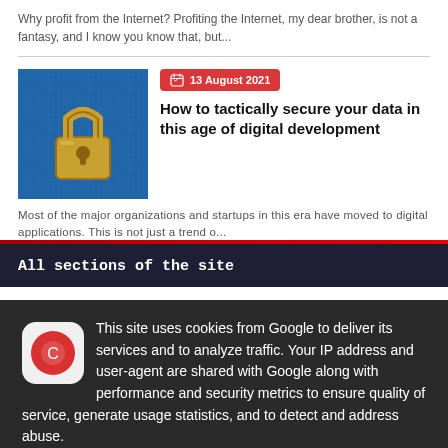Why profit from the Internet? Profiting the Internet, my dear brother, is not a fantasy, and I know you know that, but...
How to tactically secure your data in this age of digital development
13 August 2021
Most of the major organizations and startups in this era have moved to digital applications. This is not just a trend o...
All sections of the site
This site uses cookies from Google to deliver its services and to analyze traffic. Your IP address and user-agent are shared with Google along with performance and security metrics to ensure quality of service, generate usage statistics, and to detect and address abuse.